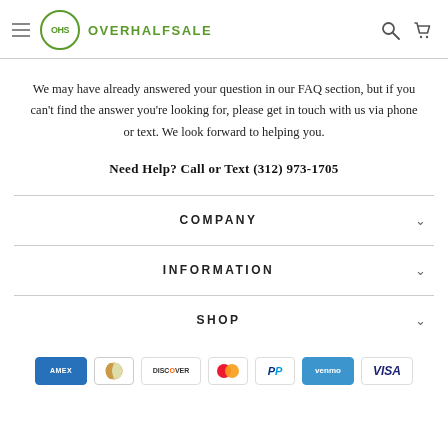OHS OVERHALFSALE
We may have already answered your question in our FAQ section, but if you can't find the answer you're looking for, please get in touch with us via phone or text. We look forward to helping you.
Need Help? Call or Text (312) 973-1705
COMPANY
INFORMATION
SHOP
[Figure (other): Payment method icons: American Express, Diners Club, Discover, Mastercard, PayPal, Venmo, Visa]